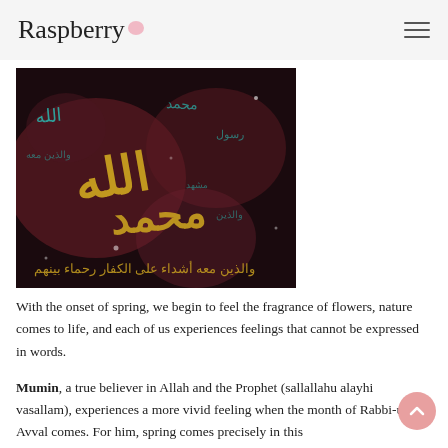Raspberry
[Figure (photo): Islamic calligraphy art on a dark background with gold and teal Arabic script, featuring the name Muhammad and other Quranic text]
With the onset of spring, we begin to feel the fragrance of flowers, nature comes to life, and each of us experiences feelings that cannot be expressed in words.
Mumin, a true believer in Allah and the Prophet (sallallahu alayhi vasallam), experiences a more vivid feeling when the month of Rabbi-ul-Avval comes. For him, spring comes precisely in this